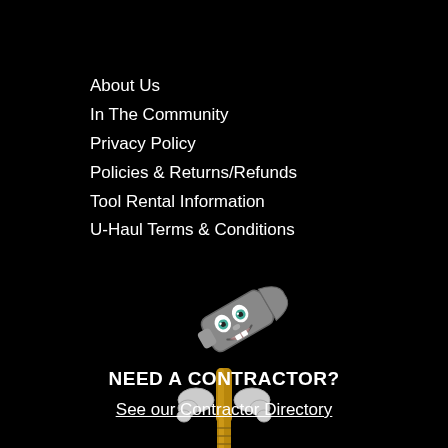About Us
In The Community
Privacy Policy
Policies & Returns/Refunds
Tool Rental Information
U-Haul Terms & Conditions
[Figure (illustration): Cartoon hammer mascot character with a smiling face, holding a golden nail/tool with gloved hands]
NEED A CONTRACTOR?
See our Contractor Directory